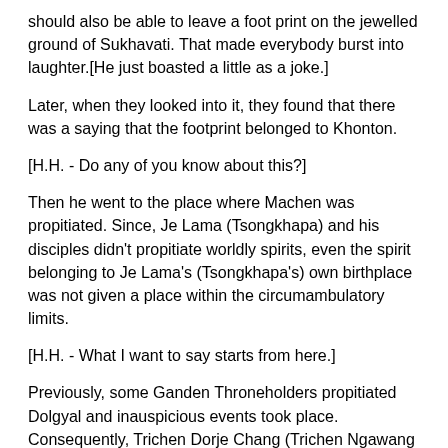should also be able to leave a foot print on the jewelled ground of Sukhavati. That made everybody burst into laughter.[He just boasted a little as a joke.]
Later, when they looked into it, they found that there was a saying that the footprint belonged to Khonton.
[H.H. - Do any of you know about this?]
Then he went to the place where Machen was propitiated. Since, Je Lama (Tsongkhapa) and his disciples didn't propitiate worldly spirits, even the spirit belonging to Je Lama's (Tsongkhapa's) own birthplace was not given a place within the circumambulatory limits.
[H.H. - What I want to say starts from here.]
Previously, some Ganden Throneholders propitiated Dolgyal and inauspicious events took place. Consequently, Trichen Dorje Chang (Trichen Ngawang Chokden 1677-1751) [here it very clearly states that the spirit was Dolgyal] destroyed the images of him and so forth and banished him from the premises of the monastery. Then, he went to Lambar and Lhasa and